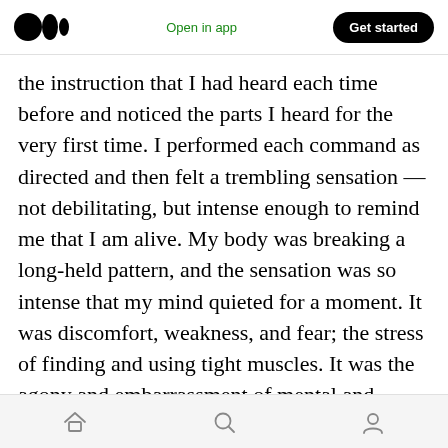Medium logo | Open in app | Get started
the instruction that I had heard each time before and noticed the parts I heard for the very first time. I performed each command as directed and then felt a trembling sensation — not debilitating, but intense enough to remind me that I am alive. My body was breaking a long-held pattern, and the sensation was so intense that my mind quieted for a moment. It was discomfort, weakness, and fear; the stress of finding and using tight muscles. It was the agony and embarrassment of mental and physical change. It was the recognition of some mysterious tension
Home | Search | Profile